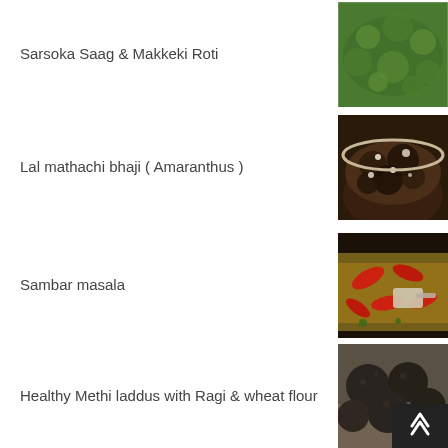Sarsoka Saag & Makkeki Roti
[Figure (photo): Photo of Sarsoka Saag - a bowl of chopped green leafy vegetable dish]
Lal mathachi bhaji ( Amaranthus )
[Figure (photo): Photo of Lal mathachi bhaji - a bowl of dark cooked amaranthus with coconut]
Sambar masala
[Figure (photo): Photo of Sambar masala - ground spice mixture with dried red chilies]
Healthy Methi laddus with Ragi & wheat flour
[Figure (photo): Photo of Healthy Methi laddus - dark round balls made with ragi and wheat flour]